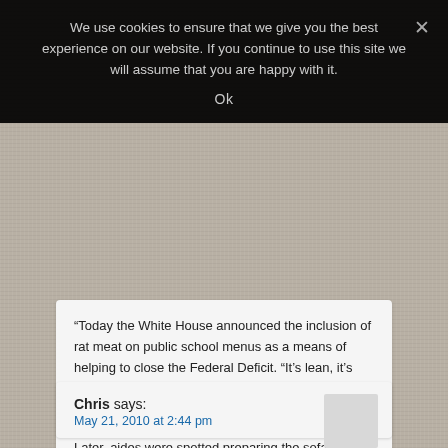We use cookies to ensure that we give you the best experience on our website. If you continue to use this site we will assume that you are happy with it.
Ok
“Today the White House announced the inclusion of rat meat on public school menus as a means of helping to close the Federal Deficit. “It’s lean, it’s mean, just like Michelle!” the President quipped offhandedly.

Later, aides were spotted preparing the sofa in the Oval Office with blankets and a pillow.”
Chris says:
May 21, 2010 at 2:44 pm